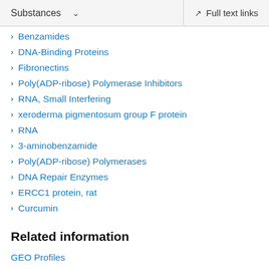Substances   Full text links
Benzamides
DNA-Binding Proteins
Fibronectins
Poly(ADP-ribose) Polymerase Inhibitors
RNA, Small Interfering
xeroderma pigmentosum group F protein
RNA
3-aminobenzamide
Poly(ADP-ribose) Polymerases
DNA Repair Enzymes
ERCC1 protein, rat
Curcumin
Related information
GEO Profiles
Gene